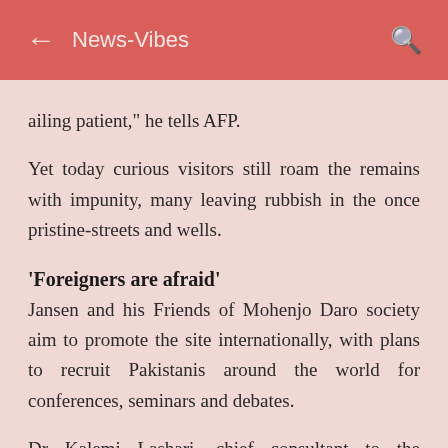News-Vibes
ailing patient," he tells AFP.
Yet today curious visitors still roam the remains with impunity, many leaving rubbish in the once pristine-streets and wells.
'Foreigners are afraid'
Jansen and his Friends of Mohenjo Daro society aim to promote the site internationally, with plans to recruit Pakistanis around the world for conferences, seminars and debates.
Dr Kaleem Lashari, chief consultant to the Pakistani